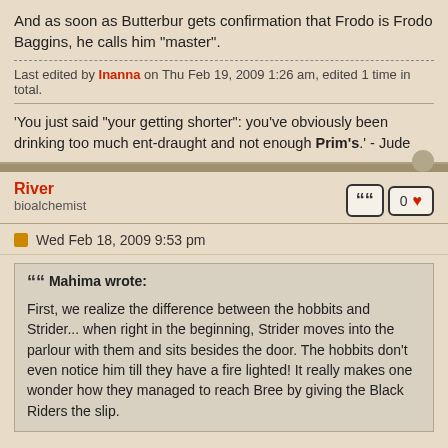And as soon as Butterbur gets confirmation that Frodo is Frodo Baggins, he calls him "master".
Last edited by Inanna on Thu Feb 19, 2009 1:26 am, edited 1 time in total.
'You just said "your getting shorter": you've obviously been drinking too much ent-draught and not enough Prim's.' - Jude
River
bioalchemist
Wed Feb 18, 2009 9:53 pm
Mahima wrote: First, we realize the difference between the hobbits and Strider... when right in the beginning, Strider moves into the parlour with them and sits besides the door. The hobbits don't even notice him till they have a fire lighted! It really makes one wonder how they managed to reach Bree by giving the Black Riders the slip.
Well, Strider is good. Really good. Sneaking around on the border of the Mordor good. Better than the Black Riders - he has been